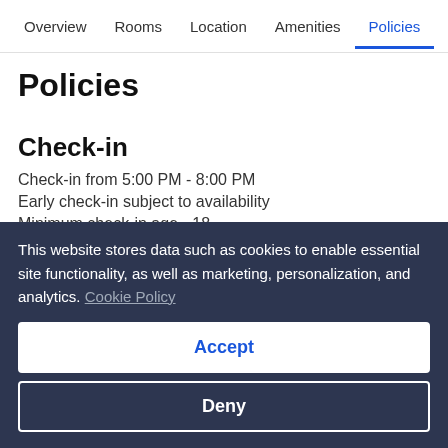Overview  Rooms  Location  Amenities  Policies  R
Policies
Check-in
Check-in from 5:00 PM - 8:00 PM
Early check-in subject to availability
Minimum check-in age - 18
Check-out
Check-out before 10:00 AM
This website stores data such as cookies to enable essential site functionality, as well as marketing, personalization, and analytics. Cookie Policy
Accept
Deny